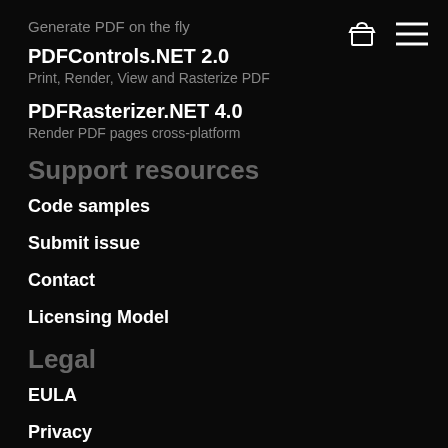Generate PDF on the fly
PDFControls.NET 2.0
Print, Render, View and Rasterize PDF
PDFRasterizer.NET 4.0
Render PDF pages cross-platform
Support resources
Code samples
Submit issue
Contact
Licensing Model
Legal
EULA
Privacy